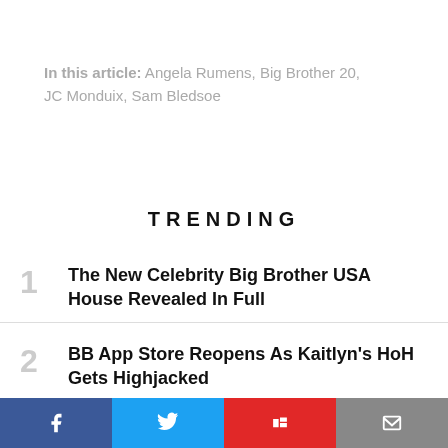In this article: Angela Rumens, Big Brother 20, JC Monduix, Sam Bledsoe
TRENDING
1 The New Celebrity Big Brother USA House Revealed In Full
2 BB App Store Reopens As Kaitlyn's HoH Gets Highjacked
3 Joey Lawrence Reportedly 'Signs Up' For Celebrity Big Brother 2019